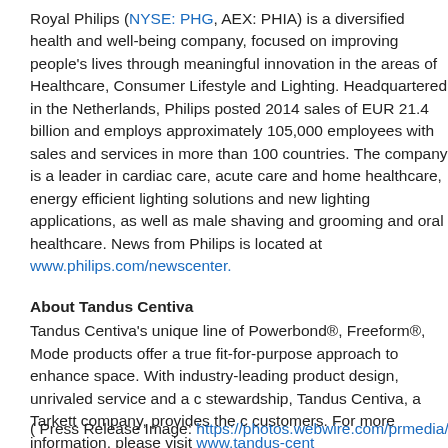Royal Philips (NYSE: PHG, AEX: PHIA) is a diversified health and well-being company, focused on improving people's lives through meaningful innovation in the areas of Healthcare, Consumer Lifestyle and Lighting. Headquartered in the Netherlands, Philips posted 2014 sales of EUR 21.4 billion and employs approximately 105,000 employees with sales and services in more than 100 countries. The company is a leader in cardiac care, acute care and home healthcare, energy efficient lighting solutions and new lighting applications, as well as male shaving and grooming and oral healthcare. News from Philips is located at www.philips.com/newscenter.
About Tandus Centiva
Tandus Centiva's unique line of Powerbond®, Freeform®, Mode products offer a true fit-for-purpose approach to enhance space. With industry-leading product design, unrivaled service and a commitment to stewardship, Tandus Centiva, a Tarkett company, provides the needs of customers. For more information, please visit www.tandus-cent...
( Press Release Image: https://photos.webwire.com/prmedia/2/